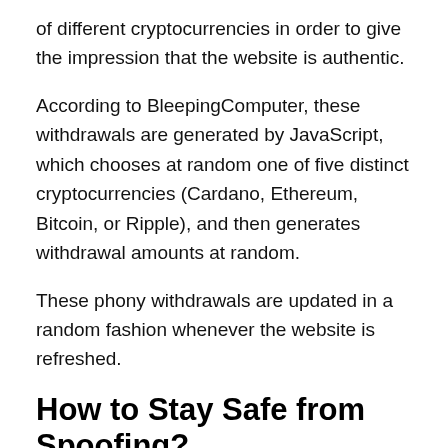of different cryptocurrencies in order to give the impression that the website is authentic.
According to BleepingComputer, these withdrawals are generated by JavaScript, which chooses at random one of five distinct cryptocurrencies (Cardano, Ethereum, Bitcoin, or Ripple), and then generates withdrawal amounts at random.
These phony withdrawals are updated in a random fashion whenever the website is refreshed.
How to Stay Safe from Spoofing?
Invest in cybersecurity software: Install anti-malware and anti-spam software to safeguard your device from dangerous threats